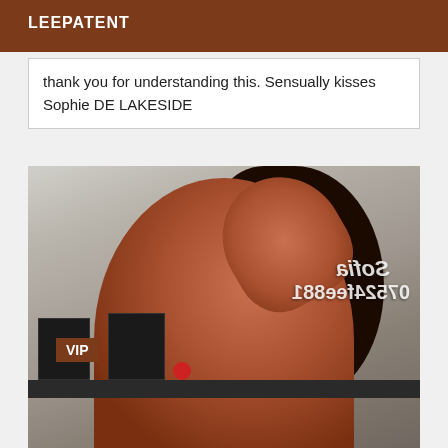LEEPATENT
thank you for understanding this. Sensually kisses Sophie DE LAKESIDE
[Figure (photo): Photo of a woman with long dark hair viewed from behind, wearing red, with mirrored watermark text reading 'Sofia' and '07524fee881' overlaid on the image. A shelf with small framed items is visible in the background. A VIP badge appears in the upper left corner of the photo.]